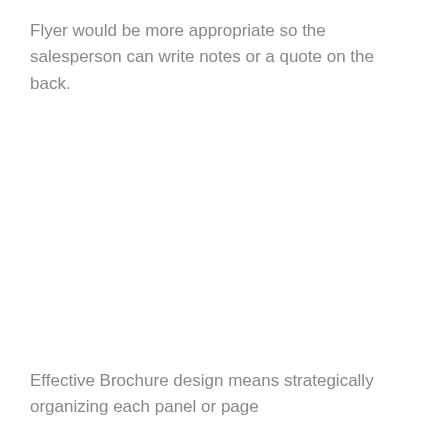Flyer would be more appropriate so the salesperson can write notes or a quote on the back.
Effective Brochure design means strategically organizing each panel or page